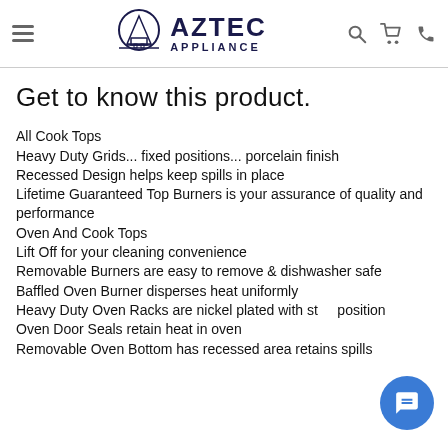Aztec Appliance
Get to know this product.
All Cook Tops
Heavy Duty Grids... fixed positions... porcelain finish
Recessed Design helps keep spills in place
Lifetime Guaranteed Top Burners is your assurance of quality and performance
Oven And Cook Tops
Lift Off for your cleaning convenience
Removable Burners are easy to remove & dishwasher safe
Baffled Oven Burner disperses heat uniformly
Heavy Duty Oven Racks are nickel plated with st... position
Oven Door Seals retain heat in oven
Removable Oven Bottom has recessed area retains spills